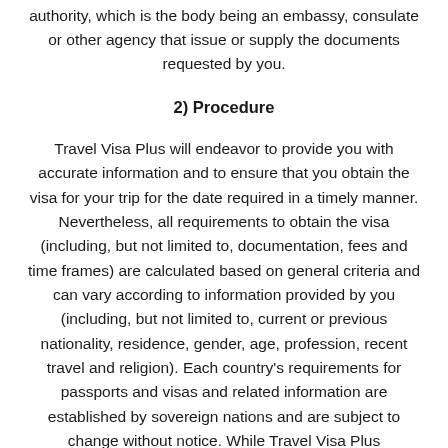authority, which is the body being an embassy, consulate or other agency that issue or supply the documents requested by you.
2) Procedure
Travel Visa Plus will endeavor to provide you with accurate information and to ensure that you obtain the visa for your trip for the date required in a timely manner. Nevertheless, all requirements to obtain the visa (including, but not limited to, documentation, fees and time frames) are calculated based on general criteria and can vary according to information provided by you (including, but not limited to, current or previous nationality, residence, gender, age, profession, recent travel and religion). Each country's requirements for passports and visas and related information are established by sovereign nations and are subject to change without notice. While Travel Visa Plus